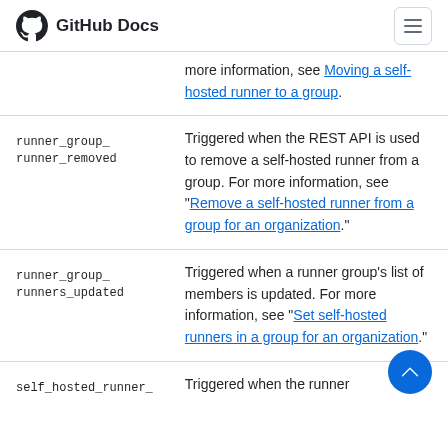GitHub Docs
more information, see Moving a self-hosted runner to a group.
| Action | Description |
| --- | --- |
| runner_group_runner_removed | Triggered when the REST API is used to remove a self-hosted runner from a group. For more information, see "Remove a self-hosted runner from a group for an organization." |
| runner_group_runners_updated | Triggered when a runner group's list of members is updated. For more information, see "Set self-hosted runners in a group for an organization." |
| self_hosted_runner_ | Triggered when the runner... |